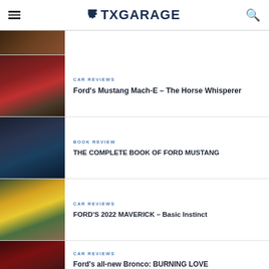TXGARAGE
[Figure (photo): Partial top image strip - wooden/barn interior]
[Figure (photo): Red Ford Mustang Mach-E electric SUV parked outdoors with trees in background]
CAR REVIEWS
Ford's Mustang Mach-E – The Horse Whisperer
[Figure (photo): Dark blue Ford Mustang muscle car with headlights on, night/dusk setting]
BOOK REVIEW
THE COMPLETE BOOK OF FORD MUSTANG
[Figure (photo): Light blue Ford Maverick pickup truck parked in front of colorful modern building]
CAR REVIEWS
FORD'S 2022 MAVERICK – Basic Instinct
[Figure (photo): Red Ford Bronco SUV - partial view]
CAR REVIEWS
Ford's all-new Bronco: BURNING LOVE